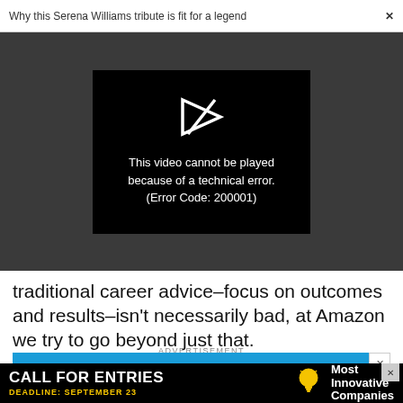Why this Serena Williams tribute is fit for a legend  ×
[Figure (screenshot): Dark grey video player area with a black video error box in the center showing a broken play icon and the text: This video cannot be played because of a technical error. (Error Code: 200001)]
traditional career advice–focus on outcomes and results–isn't necessarily bad, at Amazon we try to go beyond just that.
ADVERTISEMENT
[Figure (screenshot): Blue advertisement banner showing 'Get the Future of Business on' text in bold italic white, with an X close button in the top right corner.]
[Figure (screenshot): Black bottom advertisement bar reading 'CALL FOR ENTRIES' with 'DEADLINE: SEPTEMBER 23' in yellow, a lightbulb icon, and 'Most Innovative Companies' text on the right. X close button top right.]